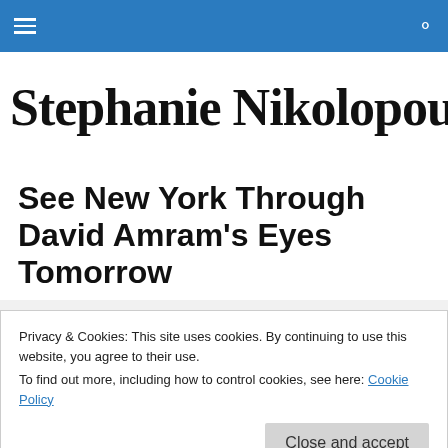Navigation bar with hamburger menu and search icon
Stephanie Nikolopoulos
See New York Through David Amram's Eyes Tomorrow
Privacy & Cookies: This site uses cookies. By continuing to use this website, you agree to their use.
To find out more, including how to control cookies, see here: Cookie Policy
Close and accept